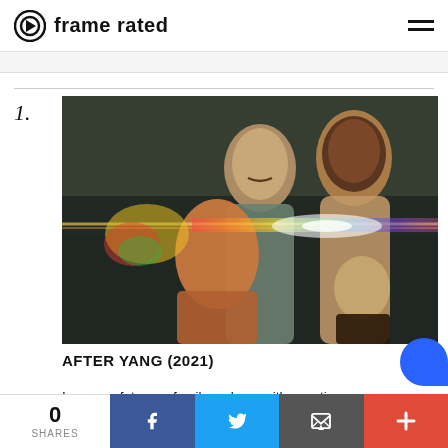frame rated
1.
[Figure (photo): Promotional still from After Yang (2021) showing four characters — two adults and a child — bathed in prismatic light flares against a dark background.]
AFTER YANG (2021)
In a near-future, a family reckons with question
0 SHARES | Facebook | Twitter | Email | More